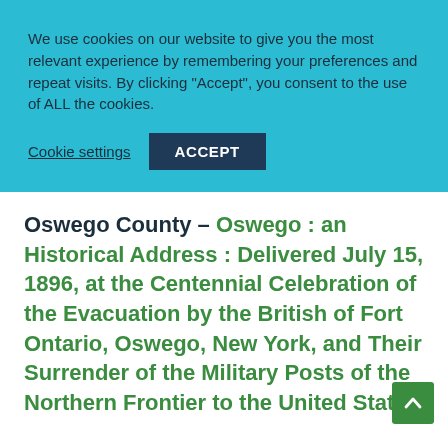We use cookies on our website to give you the most relevant experience by remembering your preferences and repeat visits. By clicking "Accept", you consent to the use of ALL the cookies.
Cookie settings | ACCEPT
Oswego County – Oswego : an Historical Address : Delivered July 15, 1896, at the Centennial Celebration of the Evacuation by the British of Fort Ontario, Oswego, New York, and Their Surrender of the Military Posts of the Northern Frontier to the United States